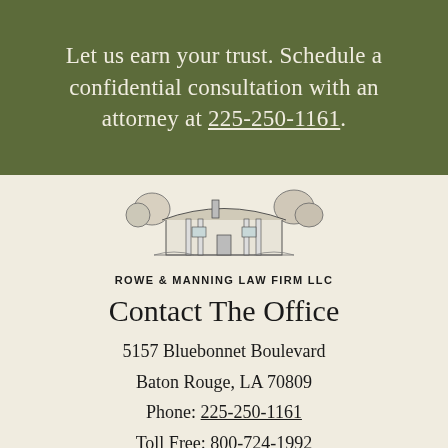Let us earn your trust. Schedule a confidential consultation with an attorney at 225-250-1161.
[Figure (illustration): Pencil sketch illustration of a low-rise building with trees, representing the law firm office.]
ROWE & MANNING LAW FIRM LLC
Contact The Office
5157 Bluebonnet Boulevard
Baton Rouge, LA 70809
Phone: 225-250-1161
Toll Free: 800-724-1992